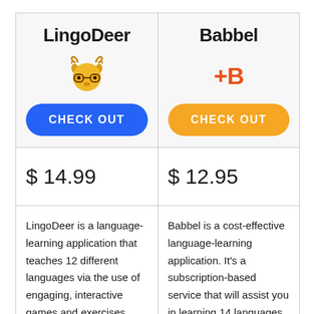| LingoDeer | Babbel |
| --- | --- |
| [LingoDeer logo + CHECK OUT button] | [Babbel +B logo + CHECK OUT button] |
| $ 14.99 | $ 12.95 |
| LingoDeer is a language-learning application that teaches 12 different languages via the use of engaging, interactive games and exercises. Chinese, French, German | Babbel is a cost-effective language-learning application. It's a subscription-based service that will assist you in learning 14 languages via their |